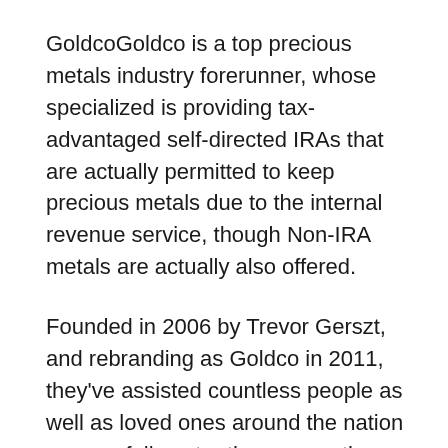GoldcoGoldco is a top precious metals industry forerunner, whose specialized is providing tax-advantaged self-directed IRAs that are actually permitted to keep precious metals due to the internal revenue service, though Non-IRA metals are actually also offered.
Founded in 2006 by Trevor Gerszt, and rebranding as Goldco in 2011, they've assisted countless people as well as loved ones around the nation successfully enter the rare-earth elements financial investment field.
Therefore, they have actually rightfully gained a few of the best gold medallion ratings...